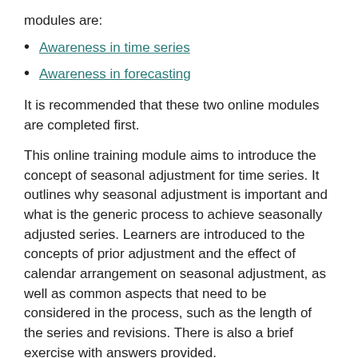modules are:
Awareness in time series
Awareness in forecasting
It is recommended that these two online modules are completed first.
This online training module aims to introduce the concept of seasonal adjustment for time series. It outlines why seasonal adjustment is important and what is the generic process to achieve seasonally adjusted series. Learners are introduced to the concepts of prior adjustment and the effect of calendar arrangement on seasonal adjustment, as well as common aspects that need to be considered in the process, such as the length of the series and revisions. There is also a brief exercise with answers provided.